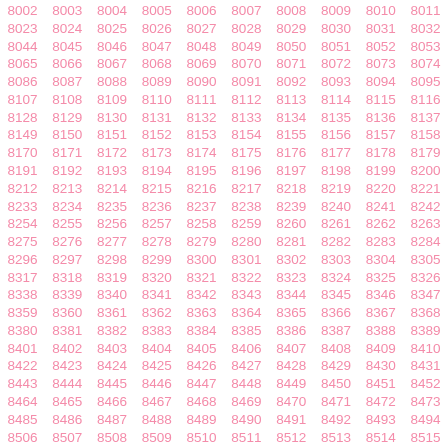| 8002 | 8003 | 8004 | 8005 | 8006 | 8007 | 8008 | 8009 | 8010 | 8011 |
| 8023 | 8024 | 8025 | 8026 | 8027 | 8028 | 8029 | 8030 | 8031 | 8032 |
| 8044 | 8045 | 8046 | 8047 | 8048 | 8049 | 8050 | 8051 | 8052 | 8053 |
| 8065 | 8066 | 8067 | 8068 | 8069 | 8070 | 8071 | 8072 | 8073 | 8074 |
| 8086 | 8087 | 8088 | 8089 | 8090 | 8091 | 8092 | 8093 | 8094 | 8095 |
| 8107 | 8108 | 8109 | 8110 | 8111 | 8112 | 8113 | 8114 | 8115 | 8116 |
| 8128 | 8129 | 8130 | 8131 | 8132 | 8133 | 8134 | 8135 | 8136 | 8137 |
| 8149 | 8150 | 8151 | 8152 | 8153 | 8154 | 8155 | 8156 | 8157 | 8158 |
| 8170 | 8171 | 8172 | 8173 | 8174 | 8175 | 8176 | 8177 | 8178 | 8179 |
| 8191 | 8192 | 8193 | 8194 | 8195 | 8196 | 8197 | 8198 | 8199 | 8200 |
| 8212 | 8213 | 8214 | 8215 | 8216 | 8217 | 8218 | 8219 | 8220 | 8221 |
| 8233 | 8234 | 8235 | 8236 | 8237 | 8238 | 8239 | 8240 | 8241 | 8242 |
| 8254 | 8255 | 8256 | 8257 | 8258 | 8259 | 8260 | 8261 | 8262 | 8263 |
| 8275 | 8276 | 8277 | 8278 | 8279 | 8280 | 8281 | 8282 | 8283 | 8284 |
| 8296 | 8297 | 8298 | 8299 | 8300 | 8301 | 8302 | 8303 | 8304 | 8305 |
| 8317 | 8318 | 8319 | 8320 | 8321 | 8322 | 8323 | 8324 | 8325 | 8326 |
| 8338 | 8339 | 8340 | 8341 | 8342 | 8343 | 8344 | 8345 | 8346 | 8347 |
| 8359 | 8360 | 8361 | 8362 | 8363 | 8364 | 8365 | 8366 | 8367 | 8368 |
| 8380 | 8381 | 8382 | 8383 | 8384 | 8385 | 8386 | 8387 | 8388 | 8389 |
| 8401 | 8402 | 8403 | 8404 | 8405 | 8406 | 8407 | 8408 | 8409 | 8410 |
| 8422 | 8423 | 8424 | 8425 | 8426 | 8427 | 8428 | 8429 | 8430 | 8431 |
| 8443 | 8444 | 8445 | 8446 | 8447 | 8448 | 8449 | 8450 | 8451 | 8452 |
| 8464 | 8465 | 8466 | 8467 | 8468 | 8469 | 8470 | 8471 | 8472 | 8473 |
| 8485 | 8486 | 8487 | 8488 | 8489 | 8490 | 8491 | 8492 | 8493 | 8494 |
| 8506 | 8507 | 8508 | 8509 | 8510 | 8511 | 8512 | 8513 | 8514 | 8515 |